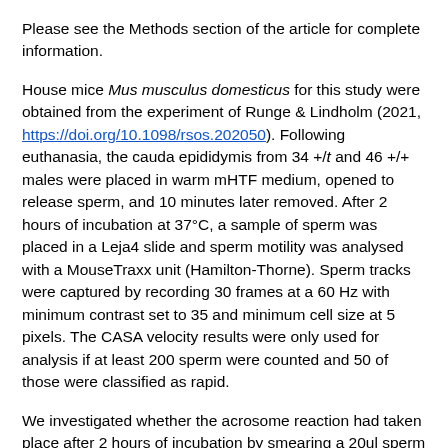Please see the Methods section of the article for complete information.
House mice Mus musculus domesticus for this study were obtained from the experiment of Runge & Lindholm (2021, https://doi.org/10.1098/rsos.202050). Following euthanasia, the cauda epididymis from 34 +/t and 46 +/+ males were placed in warm mHTF medium, opened to release sperm, and 10 minutes later removed. After 2 hours of incubation at 37°C, a sample of sperm was placed in a Leja4 slide and sperm motility was analysed with a MouseTraxx unit (Hamilton-Thorne). Sperm tracks were captured by recording 30 frames at a 60 Hz with minimum contrast set to 35 and minimum cell size at 5 pixels. The CASA velocity results were only used for analysis if at least 200 sperm were counted and 50 of those were classified as rapid.
We investigated whether the acrosome reaction had taken place after 2 hours of incubation by smearing a 20ul sperm sample on